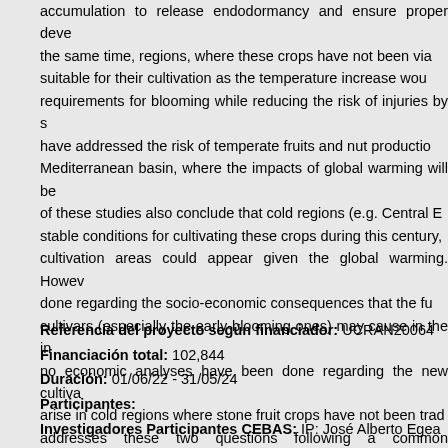accumulation to release endodormancy and ensure proper development. At the same time, regions, where these crops have not been viable may become suitable for their cultivation as the temperature increase would meet the requirements for blooming while reducing the risk of injuries by spring frosts. Several studies have addressed the risk of temperate fruits and nut production in the Mediterranean basin, where the impacts of global warming will be most severe. Some of these studies also conclude that cold regions (e.g. Central Europe) may provide stable conditions for cultivating these crops during this century, and that new cultivation areas could appear given the global warming. However, little work has been done regarding the socio-economic consequences that the future use of new cultivars (especially the early-blooming ones) may cause in the industry. Moreover, no economic analyses have been done regarding the new cultivation areas that may arise in cold regions where stone fruit crops have not been traditionally grown. This project addresses these two questions following a common methodology by: 1) evaluating the agroclimatic metrics relevant for temperate fruit production (e.g. chilling hours, last frost date or probability of spring frosts) will be assessed for the main producing areas and potential producing areas in Ukraine.
Referencia del proyecto según financiador: UCRAN20064
Financiación total: 102,844
Duración: 01/06/22 - 31/05/24
Participantes:
Investigadores Participantes CEBAS: IP: José Alberto Egea La...